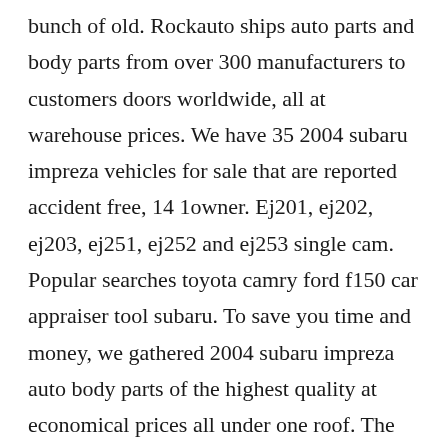bunch of old. Rockauto ships auto parts and body parts from over 300 manufacturers to customers doors worldwide, all at warehouse prices. We have 35 2004 subaru impreza vehicles for sale that are reported accident free, 14 1owner. Ej201, ej202, ej203, ej251, ej252 and ej253 single cam. Popular searches toyota camry ford f150 car appraiser tool subaru. To save you time and money, we gathered 2004 subaru impreza auto body parts of the highest quality at economical prices all under one roof. The power is produced by a naturally aspirated engine of 2.